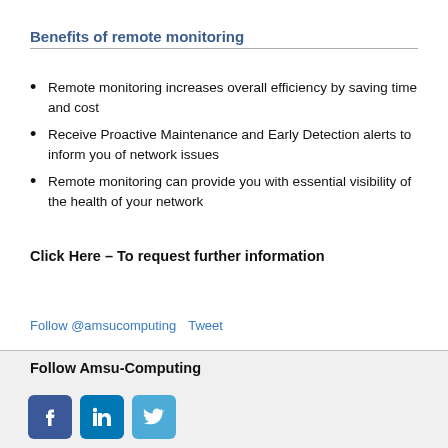Benefits of remote monitoring
Remote monitoring increases overall efficiency by saving time and cost
Receive Proactive Maintenance and Early Detection alerts to inform you of network issues
Remote monitoring can provide you with essential visibility of the health of your network
Click Here – To request further information
Follow @amsucomputing   Tweet
Follow Amsu-Computing
[Figure (logo): Facebook, LinkedIn, and Twitter social media icons]